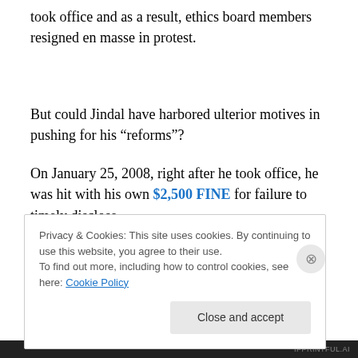took office and as a result, ethics board members resigned en masse in protest.
But could Jindal have harbored ulterior motives in pushing for his “reforms”?
On January 25, 2008, right after he took office, he was hit with his own $2,500 FINE for failure to timely disclose
Privacy & Cookies: This site uses cookies. By continuing to use this website, you agree to their use.
To find out more, including how to control cookies, see here: Cookie Policy